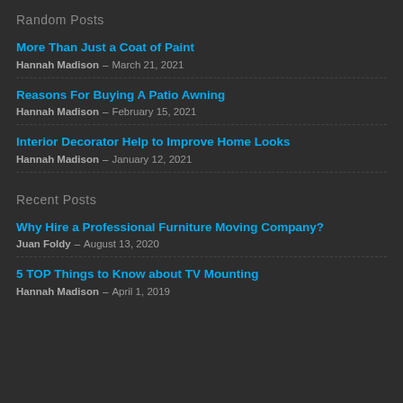Random Posts
More Than Just a Coat of Paint — Hannah Madison – March 21, 2021
Reasons For Buying A Patio Awning — Hannah Madison – February 15, 2021
Interior Decorator Help to Improve Home Looks — Hannah Madison – January 12, 2021
Recent Posts
Why Hire a Professional Furniture Moving Company? — Juan Foldy – August 13, 2020
5 TOP Things to Know about TV Mounting — Hannah Madison – April 1, 2019